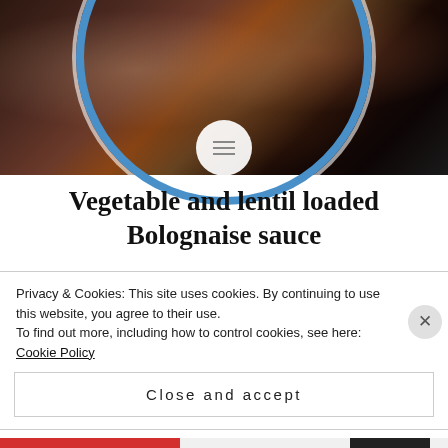[Figure (photo): Top-down photo of a plate of spaghetti bolognaise with dark meat sauce and white pasta noodles, on a blue-rimmed plate, against a dark background.]
Vegetable and lentil loaded Bolognaise sauce
This sauce has so many uses: on its own with bread mixed through spaghetti or other pasta (choose wholemeal if you can) top with mashed potato for a cottage pie turn it into a lasagne top with savoury crumble spoon over rice (again, brown is better) add kidney beans and chilli powder for a
Privacy & Cookies: This site uses cookies. By continuing to use this website, you agree to their use.
To find out more, including how to control cookies, see here: Cookie Policy
Close and accept